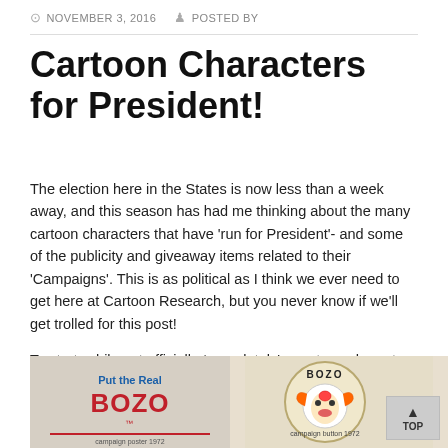NOVEMBER 3, 2016   POSTED BY
Cartoon Characters for President!
The election here in the States is now less than a week away, and this season has had me thinking about the many cartoon characters that have 'run for President'- and some of the publicity and giveaway items related to their 'Campaigns'. This is as political as I think we ever need to get here at Cartoon Research, but you never know if we'll get trolled for this post!
To start: while not officially *completely' a cartoon character, perhaps my favorite poster of any of them is the one for Bozo. This poster begs the voter to 'Put a real Bozo in the Whitehouse'- and seems more relevant than ever this particular year. These are from 1972:
[Figure (photo): Left image showing 'Put the Real BOZO' campaign poster text in red and blue]
[Figure (photo): Right image showing a round Bozo campaign button/pin with Bozo clown face]